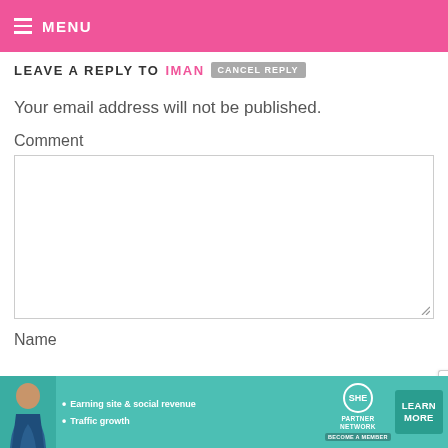≡ MENU
LEAVE A REPLY TO IMAN  CANCEL REPLY
Your email address will not be published.
Comment
Name
[Figure (screenshot): Advertisement banner for SHE Partner Network with photo of a woman, bullet points about earning site & social revenue and traffic growth, SHE logo, and a LEARN MORE button]